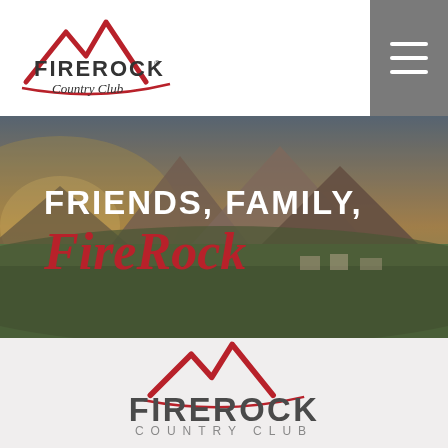[Figure (logo): FireRock Country Club logo in header — mountain peak graphic in red with 'FIREROCK Country Club' text]
[Figure (photo): Aerial landscape photo of FireRock Country Club and surrounding Arizona desert mountains at sunset with overlaid text 'FRIENDS, FAMILY, FireRock' in white and red]
[Figure (logo): Large FireRock Country Club logo on light gray background — red mountain peak graphic above bold dark text 'FIREROCK' and 'COUNTRY CLUB']